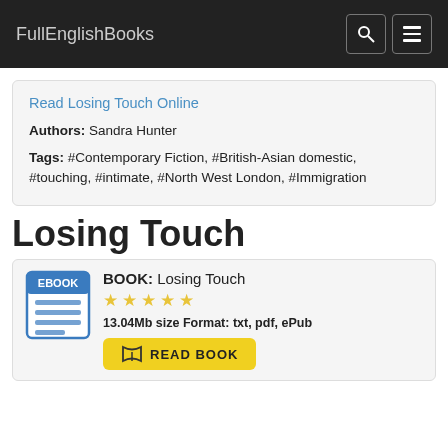FullEnglishBooks
Read Losing Touch Online
Authors: Sandra Hunter
Tags: #Contemporary Fiction, #British-Asian domestic, #touching, #intimate, #North West London, #Immigration
Losing Touch
BOOK: Losing Touch
★ ★ ★ ★ ★
13.04Mb size Format: txt, pdf, ePub